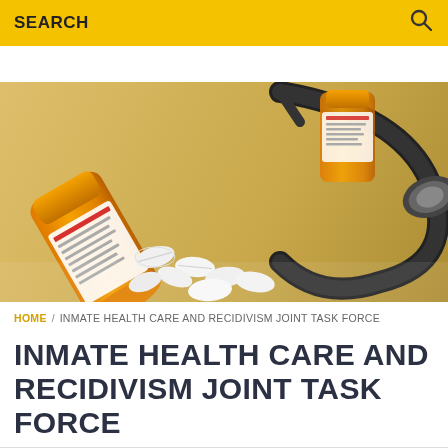SEARCH
[Figure (photo): Photo of an orange prescription pill bottle tipped over with white pills spilling out, next to a stethoscope on a white surface.]
HOME / INMATE HEALTH CARE AND RECIDIVISM JOINT TASK FORCE
INMATE HEALTH CARE AND RECIDIVISM JOINT TASK FORCE